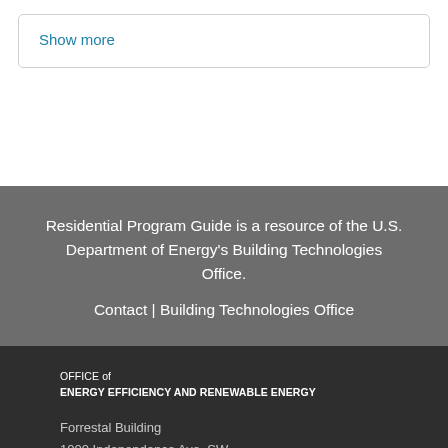Show more
Residential Program Guide is a resource of the U.S. Department of Energy's Building Technologies Office.
Contact | Building Technologies Office
OFFICE of
ENERGY EFFICIENCY AND RENEWABLE ENERGY

Forrestal Building
1000 Independence Ave. SW
Washington DC 20585